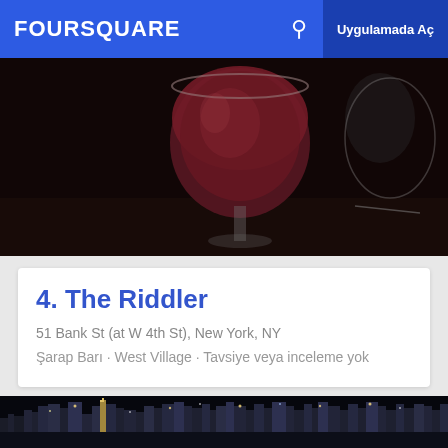FOURSQUARE  Uygulamada Aç
[Figure (photo): Photo of a wine glass with red/rosé wine and a crystal glass in the background on a dark table]
4. The Riddler
51 Bank St (at W 4th St), New York, NY
Şarap Barı · West Village · Tavsiye veya inceleme yok
[Figure (photo): Night photo of New York City skyline with illuminated skyscrapers reflected on water]